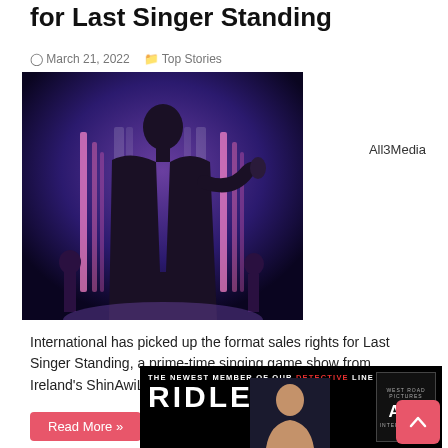for Last Singer Standing
March 21, 2022   Top Stories
[Figure (photo): Silhouette of a singer on stage with blue and purple stage lighting and glowing vertical light columns in background]
All3Media
International has picked up the format sales rights for Last Singer Standing, a prime-time singing game show from Ireland’s ShinAwiL.
Read More »
This Is Your Life Returns to Australi...
Janu...
[Figure (advertisement): Ad banner: THE NEWEST MEMBER OF OUR DETECTIVE LINE UP - RIDLEY - West Road Pictures / All3 logo]